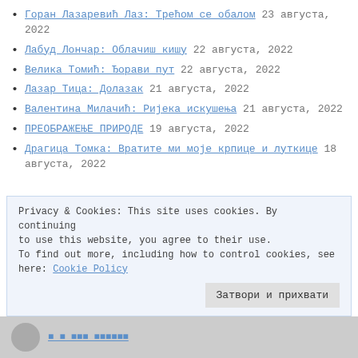Горан Лазаревић Лаз: Трећом се обалом 23 августа, 2022
Лабуд Лончар: Облачиш кишу 22 августа, 2022
Велика Томић: Ђорави пут 22 августа, 2022
Лазар Тица: Долазак 21 августа, 2022
Валентина Милачић: Ријека искушења 21 августа, 2022
ПРЕОБРАЖЕЊЕ ПРИРОДЕ 19 августа, 2022
Драгица Томка: Вратите ми моје крпице и луткице 18 августа, 2022
Privacy & Cookies: This site uses cookies. By continuing to use this website, you agree to their use. To find out more, including how to control cookies, see here: Cookie Policy
Затвори и прихвати